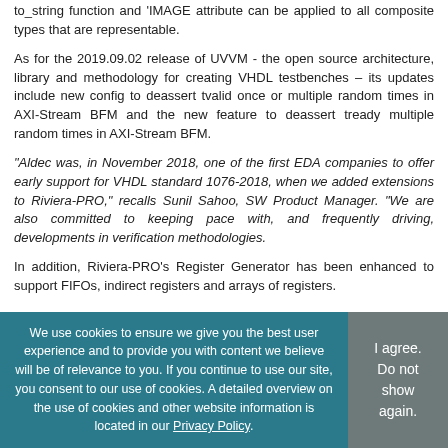to_string function and 'IMAGE attribute can be applied to all composite types that are representable.
As for the 2019.09.02 release of UVVM - the open source architecture, library and methodology for creating VHDL testbenches – its updates include new config to deassert tvalid once or multiple random times in AXI-Stream BFM and the new feature to deassert tready multiple random times in AXI-Stream BFM.
“Aldec was, in November 2018, one of the first EDA companies to offer early support for VHDL standard 1076-2018, when we added extensions to Riviera-PRO,” recalls Sunil Sahoo, SW Product Manager. “We are also committed to keeping pace with, and frequently driving, developments in verification methodologies.
In addition, Riviera-PRO’s Register Generator has been enhanced to support FIFOs, indirect registers and arrays of registers.
We use cookies to ensure we give you the best user experience and to provide you with content we believe will be of relevance to you. If you continue to use our site, you consent to our use of cookies. A detailed overview on the use of cookies and other website information is located in our Privacy Policy.
I agree. Do not show again.